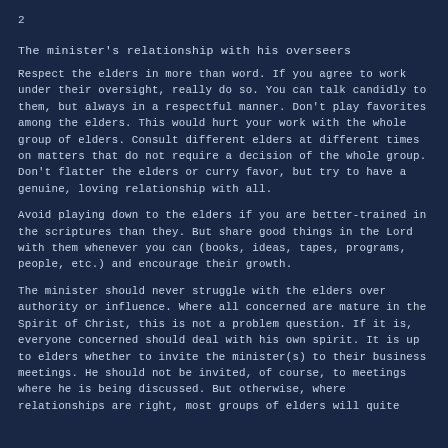2
The minister's relationship with his overseers
Respect the elders in more than word. If you agree to work under their oversight, really do so. You can talk candidly to them, but always in a respectful manner. Don't play favorites among the elders. This would hurt your work with the whole group of elders. Consult different elders at different times on matters that do not require a decision of the whole group. Don't flatter the elders or curry favor, but try to have a genuine, loving relationship with all.
Avoid playing down to the elders if you are better-trained in the scriptures than they. But share good things in the Lord with them whenever you can (books, ideas, tapes, programs, people, etc.) and encourage their growth.
The minister should never struggle with the elders over authority or influence. Where all concerned are mature in the Spirit of Christ, this is not a problem question. If it is, everyone concerned should deal with his own spirit. It is up to elders whether to invite the minister(s) to their business meetings. He should not be invited, of course, to meetings where he is being discussed. But otherwise, where relationships are right, most groups of elders will quite